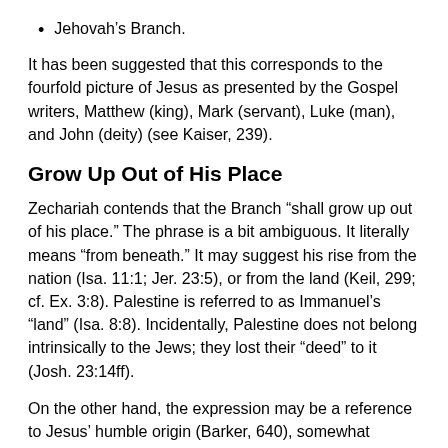Jehovah's Branch.
It has been suggested that this corresponds to the fourfold picture of Jesus as presented by the Gospel writers, Matthew (king), Mark (servant), Luke (man), and John (deity) (see Kaiser, 239).
Grow Up Out of His Place
Zechariah contends that the Branch “shall grow up out of his place.” The phrase is a bit ambiguous. It literally means “from beneath.” It may suggest his rise from the nation (Isa. 11:1; Jer. 23:5), or from the land (Keil, 299; cf. Ex. 3:8). Palestine is referred to as Immanuel’s “land” (Isa. 8:8). Incidentally, Palestine does not belong intrinsically to the Jews; they lost their “deed” to it (Josh. 23:14ff).
On the other hand, the expression may be a reference to Jesus’ humble origin (Barker, 640), somewhat analogous to Isaiah’s descriptive: “For he [Christ] grew up before him